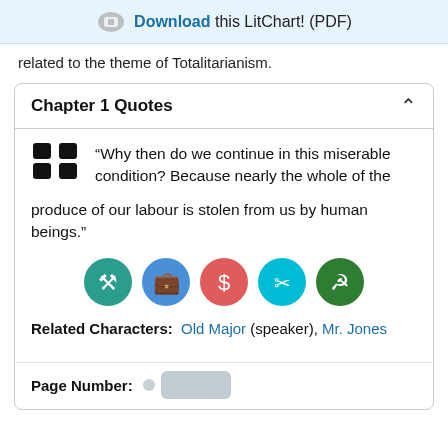Download this LitChart! (PDF)
related to the theme of Totalitarianism.
Chapter 1 Quotes
“Why then do we continue in this miserable condition? Because nearly the whole of the produce of our labour is stolen from us by human beings.”
[Figure (illustration): Five circular icons representing themes or characters: teal (person with tool), blue (bag/money), red (dollar sign), cyan (scissors/tools), green (hammer and sickle)]
Related Characters: Old Major (speaker), Mr. Jones
Page Number: [blurred]